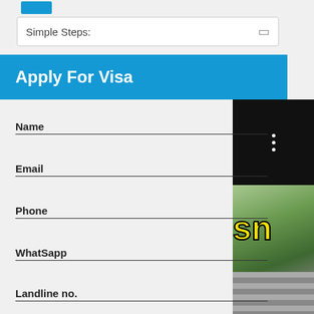[Figure (screenshot): Blue logo/icon strip at the top left]
Simple Steps:
Apply For Visa
Name
Email
Phone
WhatSapp
Landline no.
I have read the T&Cs and authorize Chillontrip to contact me
I agree to receive updates & offers from
[Figure (photo): Jungle/ruins scenic photo on right side with yellow 'sn' text overlay]